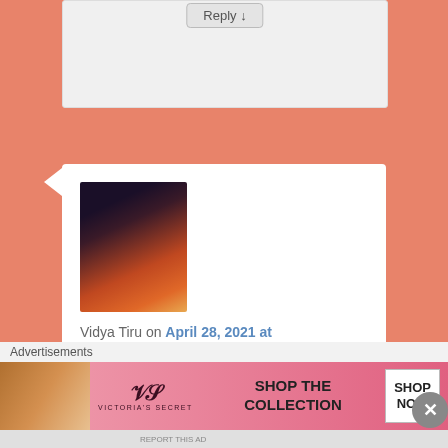[Figure (screenshot): Reply button at top of a partially visible comment reply box]
[Figure (photo): Profile photo of Vidya Tiru - person in colorful traditional Indian attire]
Vidya Tiru on April 28, 2021 at 6:46 pm said:
wow! this is such a fun and unique place; i know i will enjoy being here.. Mila is certainly having fun from the looks of it:)
★ Liked by 1 person
Advertisements
[Figure (screenshot): Victoria's Secret advertisement banner - Shop The Collection, Shop Now]